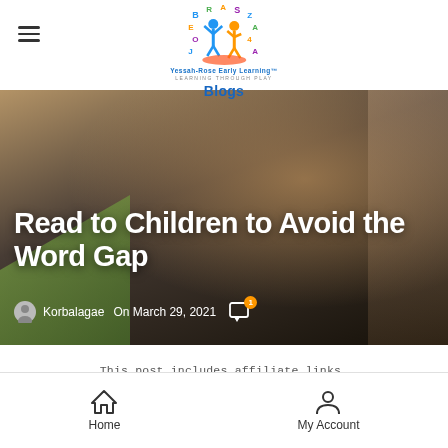Yessah-Rose Early Learning — Blogs
[Figure (logo): Yessah-Rose Early Learning logo with two children figures (blue and orange) surrounded by colorful letters. Tagline: LEARNING THROUGH PLAY. Below: Blogs]
Read to Children to Avoid the Word Gap
Korbalagae  On March 29, 2021
This post includes affiliate links.
Home   My Account